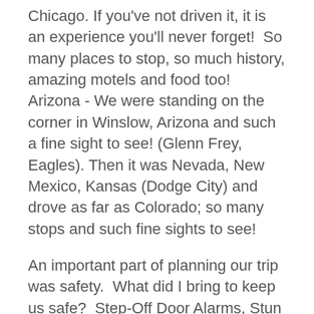Chicago. If you've not driven it, it is an experience you'll never forget!  So many places to stop, so much history, amazing motels and food too!  Arizona - We were standing on the corner in Winslow, Arizona and such a fine sight to see! (Glenn Frey, Eagles). Then it was Nevada, New Mexico, Kansas (Dodge City) and drove as far as Colorado; so many stops and such fine sights to see!
An important part of planning our trip was safety.  What did I bring to keep us safe?  Step-Off Door Alarms, Stun Guns, Pepper Spray, Personal Alarms and Road Trip Flashlights.  No matter where we were, we had something to self-protect. It is an empowering